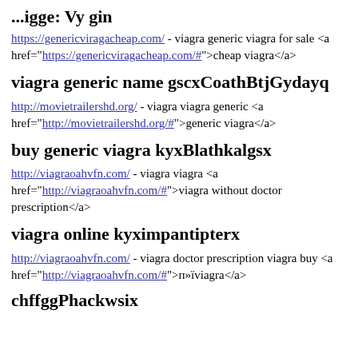...trigger Viagra (partial, top cut off)
https://genericviragacheap.com/ - viagra generic viagra for sale <a href="https://genericviragacheap.com/#">cheap viagra</a>
viagra generic name gscxCoathBtjGydayq
http://movietrailershd.org/ - viagra viagra generic <a href="http://movietrailershd.org/#">generic viagra</a>
buy generic viagra kyxBlathkalgsx
http://viagraoahvfn.com/ - viagra viagra <a href="http://viagraoahvfn.com/#">viagra without doctor prescription</a>
viagra online kyximpantipterx
http://viagraoahvfn.com/ - viagra doctor prescription viagra buy <a href="http://viagraoahvfn.com/#">п»їviagra</a>
...chffggPhackwsix (partial, bottom cut off)